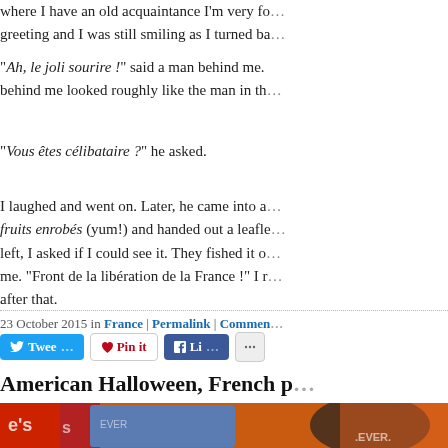where I have an old acquaintance I'm very fo... greeting and I was still smiling as I turned ba...
"Ah, le joli sourire !" said a man behind me. behind me looked roughly like the man in th...
"Vous êtes célibataire ?" he asked.
I laughed and went on. Later, he came into a... fruits enrobés (yum!) and handed out a leafle... left, I asked if I could see it. They fished it o... me. "Front de la libération de la France !" I r... after that.
23 October 2015 in France | Permalink | Commen...
American Halloween, French p...
[Figure (photo): Photo showing candy packaging including Reese's, with orange Halloween decorations in background]